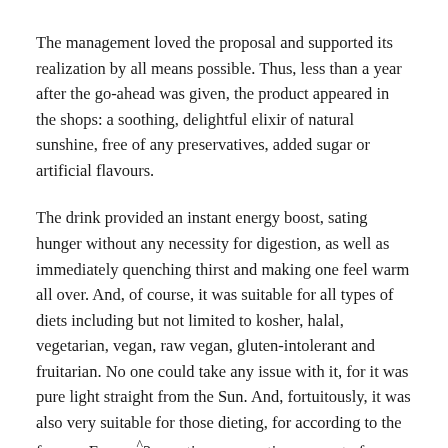The management loved the proposal and supported its realization by all means possible. Thus, less than a year after the go-ahead was given, the product appeared in the shops: a soothing, delightful elixir of natural sunshine, free of any preservatives, added sugar or artificial flavours.
The drink provided an instant energy boost, sating hunger without any necessity for digestion, as well as immediately quenching thirst and making one feel warm all over. And, of course, it was suitable for all types of diets including but not limited to kosher, halal, vegetarian, vegan, raw vegan, gluten-intolerant and fruitarian. No one could take any issue with it, for it was pure light straight from the Sun. And, fortuitously, it was also very suitable for those dieting, for according to the famous E = mc^2 equation, even a tiny amount of mass released a tremendous